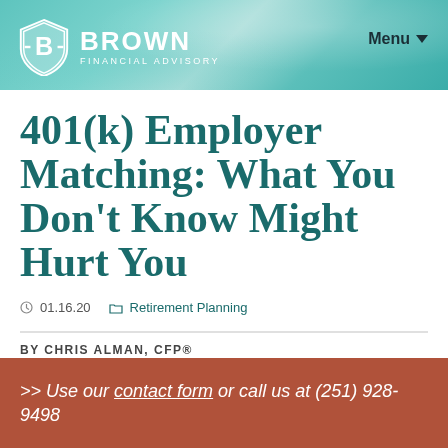[Figure (logo): Brown Financial Advisory logo with shield icon on teal/turquoise banner background, with Menu button top right]
401(k) Employer Matching: What You Don't Know Might Hurt You
01.16.20   Retirement Planning
BY CHRIS ALMAN, CFP®
>> Use our contact form or call us at (251) 928-9498